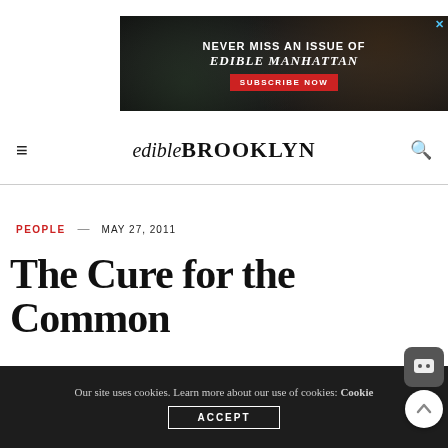[Figure (other): Advertisement banner: 'NEVER MISS AN ISSUE OF EDIBLE MANHATTAN – SUBSCRIBE NOW' on a dark seafood background]
edible BROOKLYN
PEOPLE — MAY 27, 2011
The Cure for the Common
Our site uses cookies. Learn more about our use of cookies: Cookie policy ACCEPT